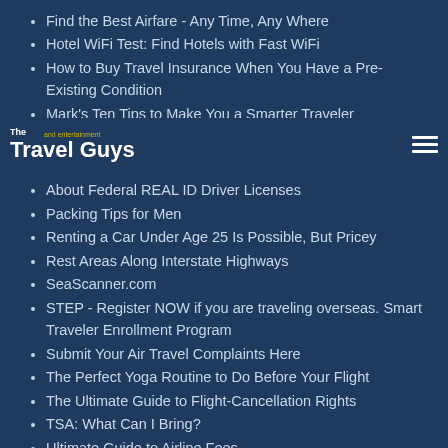Find the Best Airfare - Any Time, Any Where
Hotel WiFi Test: Find Hotels with Fast WiFi
How to Buy Travel Insurance When You Have a Pre-Existing Condition
Mark's Ten Tips to Make You a Smarter Traveler
[Figure (logo): The Travel Guys and entertainment logo with navigation hamburger menu]
About Federal REAL ID Driver Licenses
Packing Tips for Men
Renting a Car Under Age 25 Is Possible, But Pricey
Rest Areas Along Interstate Highways
SeaScanner.com
STEP - Register NOW if you are traveling overseas. Smart Traveler Enrollment Program
Submit Your Air Travel Complaints Here
The Perfect Yoga Routine to Do Before Your Flight
The Ultimate Guide to Flight-Cancellation Rights
TSA: What Can I Bring?
Ultimate Guide to Airline Fees
Upgraded Points
How to Buy Hurricane Travel Insurance